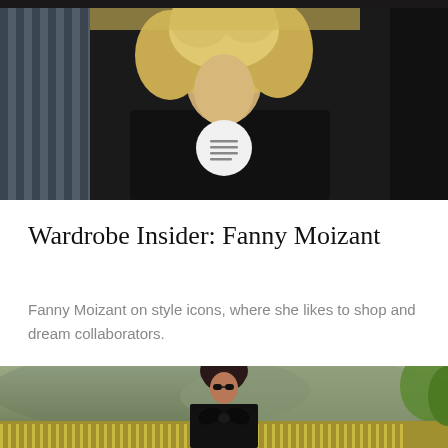[Figure (photo): Top portion of page showing a blonde woman in a black sweater against a backdrop of clothing items; a circular menu/hamburger icon overlays the center of the image]
Wardrobe Insider: Fanny Moizant
Fanny Moizant on style icons, where she likes to shop and dream collaborators.
[Figure (photo): Bottom portion showing a woman with dark curly hair and sunglasses wearing a black outfit with a large bow, standing in what appears to be a vineyard with mountains in the background; green foliage visible on right]